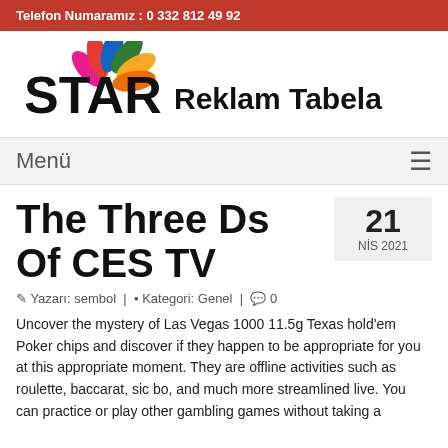Telefon Numaramız : 0 332 812 49 92
[Figure (logo): STAR Reklam Tabela logo with colorful flower/star graphic above the text]
Menü
The Three Ds Of CES TV
21 NİS 2021
Yazarı: sembol | Kategori: Genel | 0
Uncover the mystery of Las Vegas 1000 11.5g Texas hold'em Poker chips and discover if they happen to be appropriate for you at this appropriate moment. They are offline activities such as roulette, baccarat, sic bo, and much more streamlined live. You can practice or play other gambling games without taking a